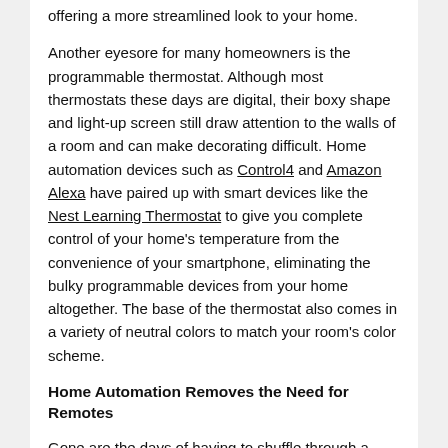offering a more streamlined look to your home.
Another eyesore for many homeowners is the programmable thermostat. Although most thermostats these days are digital, their boxy shape and light-up screen still draw attention to the walls of a room and can make decorating difficult. Home automation devices such as Control4 and Amazon Alexa have paired up with smart devices like the Nest Learning Thermostat to give you complete control of your home's temperature from the convenience of your smartphone, eliminating the bulky programmable devices from your home altogether. The base of the thermostat also comes in a variety of neutral colors to match your room's color scheme.
Home Automation Removes the Need for Remotes
Gone are the days of having to shuffle through a drawer of remote controls to find the television program or